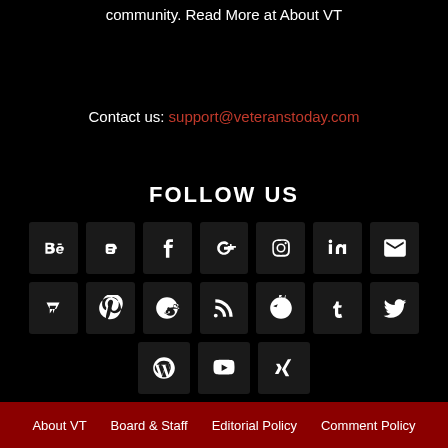community. Read More at About VT
Contact us: support@veteranstoday.com
FOLLOW US
[Figure (other): Grid of social media icon buttons: Behance, Blogger, Facebook, Google+, Instagram, LinkedIn, Email, Mix, Pinterest, Reddit, RSS, Telegram, Tumblr, Twitter, WordPress, YouTube, Xing]
About VT   Board & Staff   Editorial Policy   Comment Policy